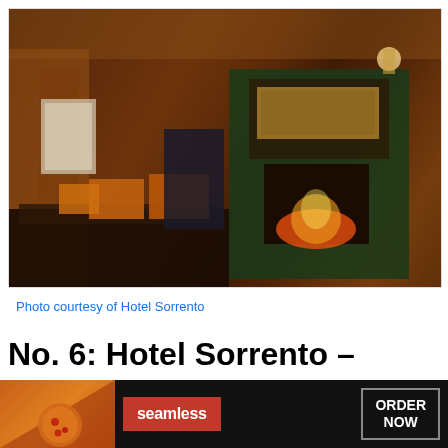[Figure (photo): Interior of Hotel Sorrento lobby showing dark wood paneling, a lit fireplace with green tile surround and landscape painting above it, tufted leather sofa, and wingback chairs with orange cushions.]
Photo courtesy of Hotel Sorrento
No. 6: Hotel Sorrento – Seattle, Washington
Some g
[Figure (screenshot): Seamless food delivery advertisement banner showing pizza image on left, Seamless logo in red center, and ORDER NOW button on right with CLOSE button overlay.]